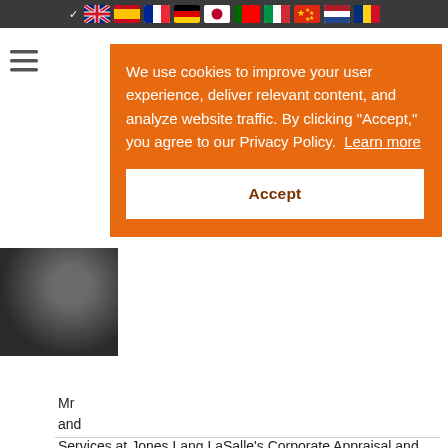Flag navigation bar with language flags
[Figure (screenshot): Cookie consent overlay on orange background with text and Accept button]
Mr ... and ... Services at Jones Lang LaSalle's Corporate Appraisal and Advisory department. His...
READ MORE